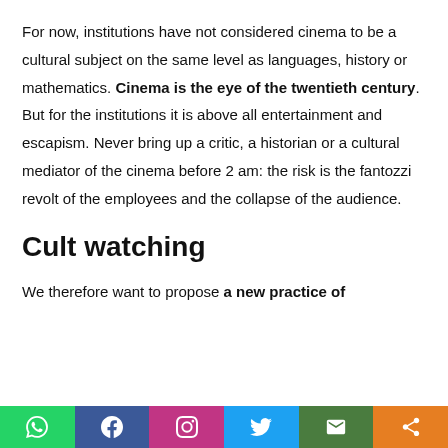For now, institutions have not considered cinema to be a cultural subject on the same level as languages, history or mathematics. Cinema is the eye of the twentieth century. But for the institutions it is above all entertainment and escapism. Never bring up a critic, a historian or a cultural mediator of the cinema before 2 am: the risk is the fantozzi revolt of the employees and the collapse of the audience.
Cult watching
We therefore want to propose a new practice of